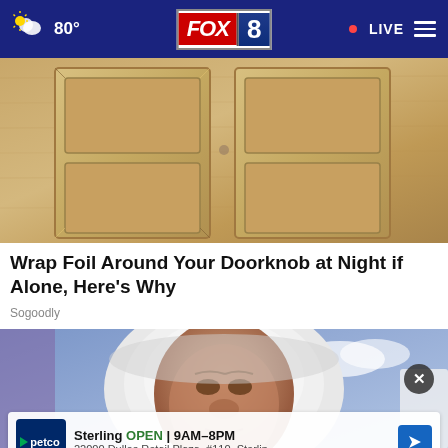FOX 8 | 80° | LIVE
[Figure (photo): Close-up photo of a wooden door with panel details, light tan/beige wood grain color]
Wrap Foil Around Your Doorknob at Night if Alone, Here's Why
Sogoodly
[Figure (photo): Close-up photo of a person's face wearing a white hooded garment, with blue sky background. Overlay shows a close button (X) and a Petco advertisement banner.]